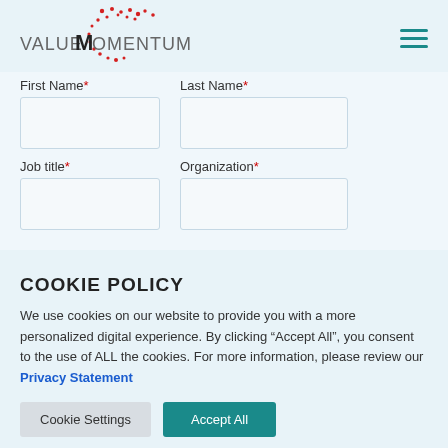ValueMomentum
First Name* Last Name*
Job title* Organization*
COOKIE POLICY
We use cookies on our website to provide you with a more personalized digital experience. By clicking “Accept All”, you consent to the use of ALL the cookies. For more information, please review our Privacy Statement
Cookie Settings | Accept All